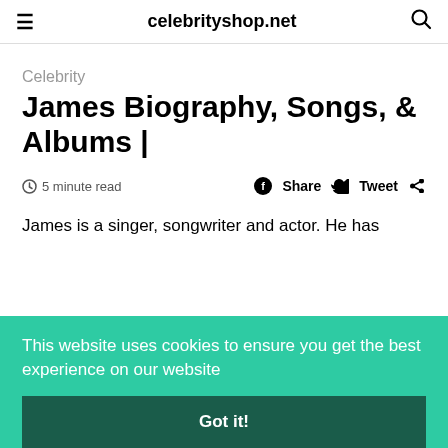celebrityshop.net
Celebrity
James Biography, Songs, & Albums |
5 minute read
Share  Tweet
James is a singer, songwriter and actor. He has
This website uses cookies to ensure you get the best experience on our website
Got it!